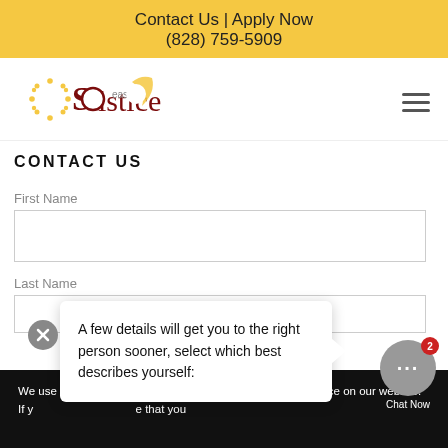Contact Us | Apply Now
(828) 759-5909
[Figure (logo): Solstice East logo with sun and crescent moon motif]
CONTACT US
First Name
Last Name
We use cookies to ensure that we give you the best experience on our website. If y... that you
A few details will get you to the right person sooner, select which best describes yourself: